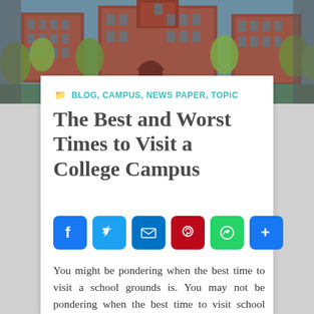[Figure (photo): Exterior photo of a university campus building (red brick Gothic architecture) with trees in spring foliage]
BLOG, CAMPUS, NEWS PAPER, TOPIC
The Best and Worst Times to Visit a College Campus
[Figure (infographic): Social sharing buttons: Facebook (blue), Twitter (light blue), Email (dark blue), Pinterest (red), WhatsApp (green), Share/More (blue)]
You might be pondering when the best time to visit a school grounds is. You may not be pondering when the best time to visit school grounds is. You may figure you can